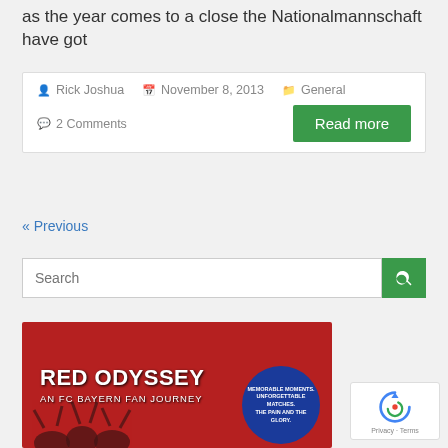as the year comes to a close the Nationalmannschaft have got
Rick Joshua   November 8, 2013   General   2 Comments
Read more
« Previous
Search
[Figure (photo): Red Odyssey: An FC Bayern Fan Journey book cover — red background with silhouette of fans with raised hands, blue circle badge reading 'Memorable Moments. Unforgettable Matches. The Pain and the Glory.']